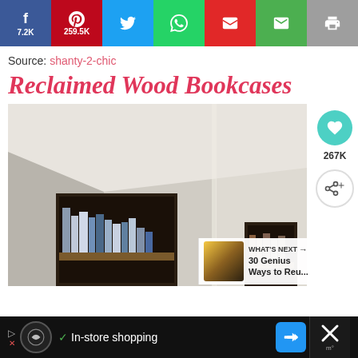[Figure (screenshot): Social share bar with Facebook 7.2K, Pinterest 259.5K, Twitter, WhatsApp, Flipboard, Email, and Print buttons]
Source: shanty-2-chic
Reclaimed Wood Bookcases
[Figure (photo): Interior room photo showing built-in reclaimed wood bookcases with books on shelves, white walls and angled ceiling]
267K
WHAT'S NEXT → 30 Genius Ways to Reu...
[Figure (screenshot): Advertisement bar at bottom: Lokai ad with In-store shopping text, navigation arrow button, and close button]